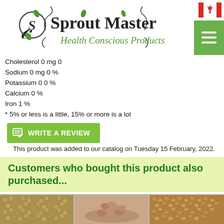Sprout Master – Health Conscious Products
Cholesterol  0 mg 0
Sodium  0 mg 0 %
Potassium 0 0 %
Calcium  0 %
Iron  1 %
* 5% or less is a little, 15% or more is a lot
WRITE A REVIEW
This product was added to our catalog on Tuesday 15 February, 2022.
Customers who bought this product also purchased...
[Figure (photo): Three product images: seeds/grains (left), lentils (center), fenugreek seeds (right)]